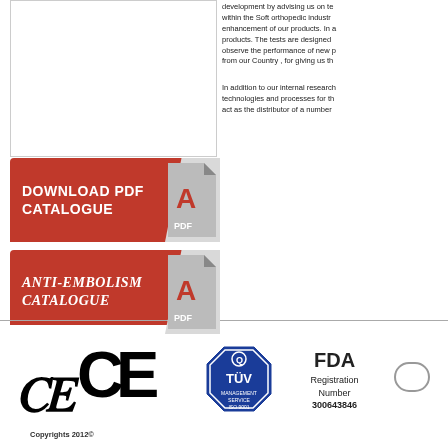[Figure (other): White empty box with thin border on left column top]
[Figure (other): Red PDF download button labeled DOWNLOAD PDF CATALOGUE with Adobe PDF icon and page-curl corner]
[Figure (other): Red PDF download button labeled Anti-Embolism Catalogue with Adobe PDF icon and page-curl corner]
development by advising us on te... within the Soft orthopedic industr... enhancement of our products. In a... products. The tests are designed ... observe the performance of new p... from our Country , for giving us th...
In addition to our internal research... technologies and processes for th... act as the distributor of a number...
[Figure (logo): CE marking logo in black]
[Figure (logo): TUV ISO 9001 blue octagon badge]
FDA
Registration
Number
300643846
[Figure (other): Pill/oval shaped outline (partial, cropped at right edge)]
Copyrights 2012©